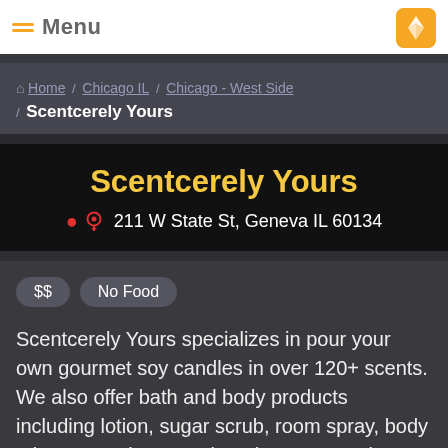Menu
Home / Chicago IL / Chicago - West Side / Scentcerely Yours
Scentcerely Yours
211 W State St, Geneva IL 60134
$$
No Food
Scentcerely Yours specializes in pour your own gourmet soy candles in over 120+ scents. We also offer bath and body products including lotion, sugar scrub, room spray, body mist, soap, shower gel, and more. Stop in to create your very own